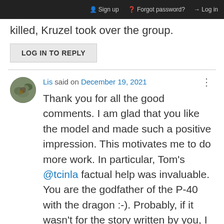Sign up  Forgot password?  Log in
killed, Kruzel took over the group.
LOG IN TO REPLY
Lis said on December 19, 2021
Thank you for all the good comments. I am glad that you like the model and made such a positive impression. This motivates me to do more work. In particular, Tom's @tcinla factual help was invaluable. You are the godfather of the P-40 with the dragon :-). Probably, if it wasn't for the story written by you, I would not be so interested in Green